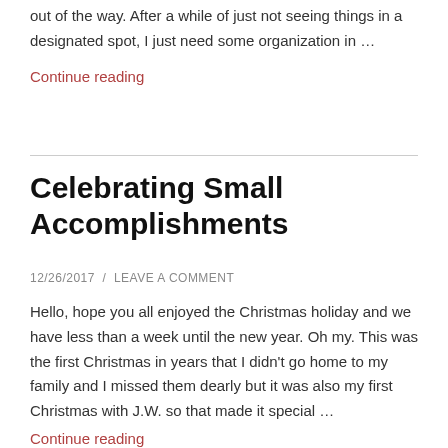out of the way. After a while of just not seeing things in a designated spot, I just need some organization in …
Continue reading
Celebrating Small Accomplishments
12/26/2017  /  LEAVE A COMMENT
Hello, hope you all enjoyed the Christmas holiday and we have less than a week until the new year. Oh my. This was the first Christmas in years that I didn't go home to my family and I missed them dearly but it was also my first Christmas with J.W. so that made it special …
Continue reading